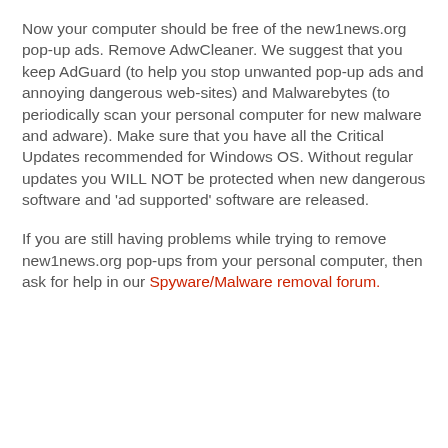Now your computer should be free of the new1news.org pop-up ads. Remove AdwCleaner. We suggest that you keep AdGuard (to help you stop unwanted pop-up ads and annoying dangerous web-sites) and Malwarebytes (to periodically scan your personal computer for new malware and adware). Make sure that you have all the Critical Updates recommended for Windows OS. Without regular updates you WILL NOT be protected when new dangerous software and 'ad supported' software are released.
If you are still having problems while trying to remove new1news.org pop-ups from your personal computer, then ask for help in our Spyware/Malware removal forum.